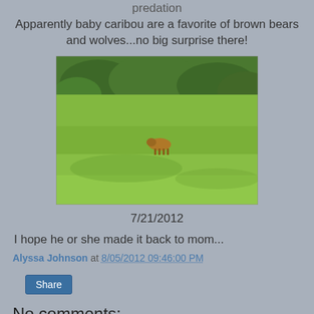predation
Apparently baby caribou are a favorite of brown bears and wolves...no big surprise there!
[Figure (photo): A small animal (caribou calf) running across a green grassy field with shrubs/trees in the background]
7/21/2012
I hope he or she made it back to mom...
Alyssa Johnson at 8/05/2012 09:46:00 PM
Share
No comments: